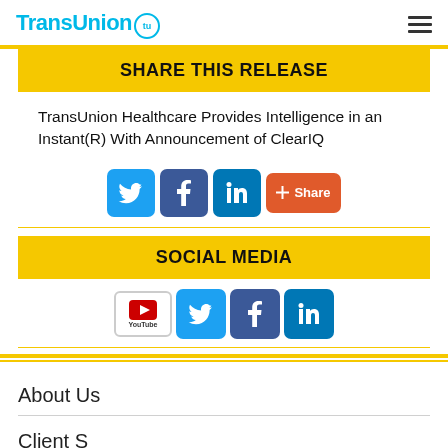TransUnion
SHARE THIS RELEASE
TransUnion Healthcare Provides Intelligence in an Instant(R) With Announcement of ClearIQ
[Figure (infographic): Social share buttons: Twitter (blue bird icon), Facebook (blue f icon), LinkedIn (blue in icon), Share (orange button with plus icon)]
SOCIAL MEDIA
[Figure (infographic): Social media icons: YouTube, Twitter, Facebook, LinkedIn]
About Us
Client S...